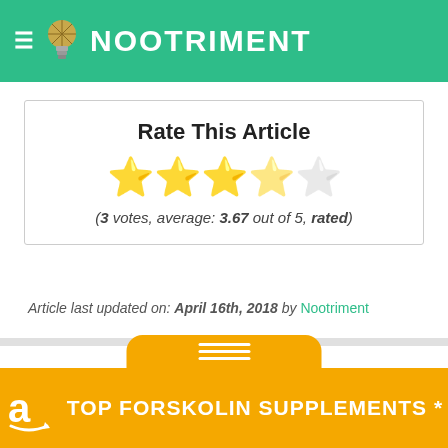NOOTRIMENT
Rate This Article
( 3 votes, average: 3.67 out of 5, rated )
Article last updated on: April 16th, 2018 by Nootriment
TOP FORSKOLIN SUPPLEMENTS *